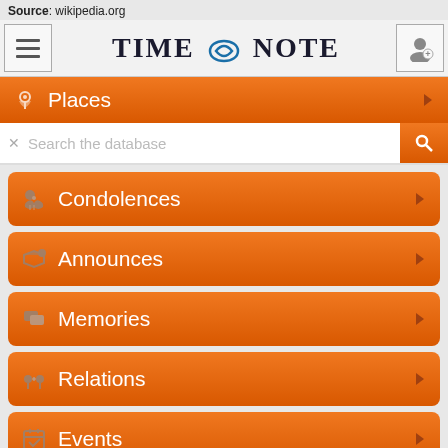Source: wikipedia.org
[Figure (screenshot): TimeNote mobile app interface showing hamburger menu, TIME∞NOTE logo, user icon button, Places nav row, search bar, Condolences row, Announces row, Memories row, Relations row, Events row, Tags section, and share icons]
Tags  Add tag!